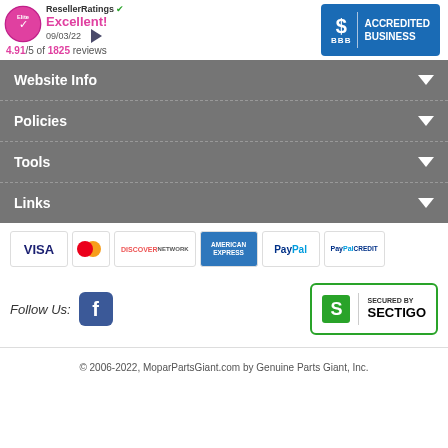[Figure (logo): ResellerRatings Elite badge with excellent rating 4.91/5 of 1825 reviews dated 09/03/22]
[Figure (logo): BBB Accredited Business badge in blue]
Website Info
Policies
Tools
Links
[Figure (logo): Payment method icons: VISA, MasterCard, Discover, American Express, PayPal, PayPal Credit]
Follow Us:
[Figure (logo): Facebook icon]
[Figure (logo): Secured by Sectigo badge]
© 2006-2022, MoparPartsGiant.com by Genuine Parts Giant, Inc.